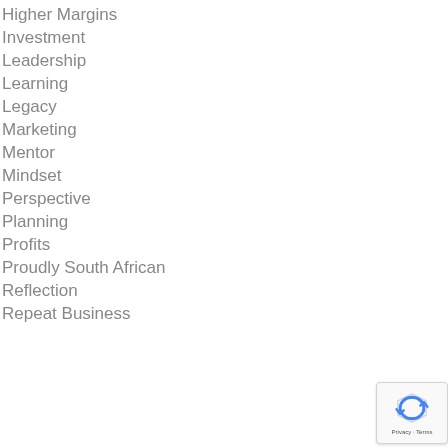Higher Margins
Investment
Leadership
Learning
Legacy
Marketing
Mentor
Mindset
Perspective
Planning
Profits
Proudly South African
Reflection
Repeat Business